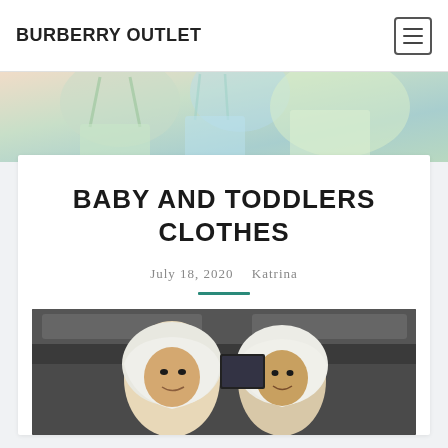BURBERRY OUTLET
[Figure (photo): Hero banner image showing shopping bags in pastel colors]
BABY AND TODDLERS CLOTHES
July 18, 2020   Katrina
[Figure (photo): Two women wearing white hijabs smiling inside what appears to be an airplane cabin]